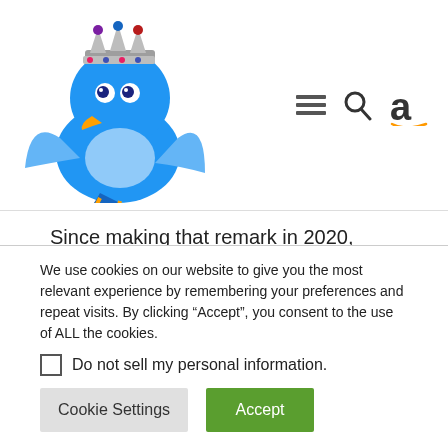[Figure (logo): Blue cartoon Twitter bird mascot wearing a jeweled crown, with wings spread]
[Figure (infographic): Navigation icons: hamburger menu (three lines), search magnifying glass, Amazon lowercase 'a' with orange arrow underline]
Since making that remark in 2020, Hastings has watched different streaming companies, together with Warner Bros. Discovery's HBO Max, NBCUniversal's Peacock and Paramount Global's Paramount+. launch lower-priced companies with
We use cookies on our website to give you the most relevant experience by remembering your preferences and repeat visits. By clicking “Accept”, you consent to the use of ALL the cookies.
Do not sell my personal information.